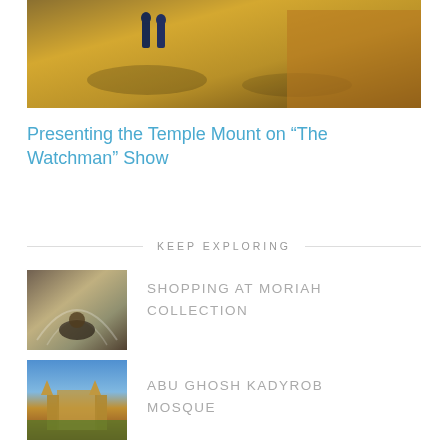[Figure (photo): Outdoor landscape photo with dry golden grass and two people walking on a path]
Presenting the Temple Mount on “The Watchman” Show
KEEP EXPLORING
[Figure (photo): Interior of Moriah Collection store with arched stone ceiling and display cases]
SHOPPING AT MORIAH COLLECTION
[Figure (photo): Abu Ghosh Kadyrob Mosque with minarets and colorful flowers in foreground]
ABU GHOSH KADYROB MOSQUE
[Figure (photo): Druze person sitting at a table outdoors]
DRUZE